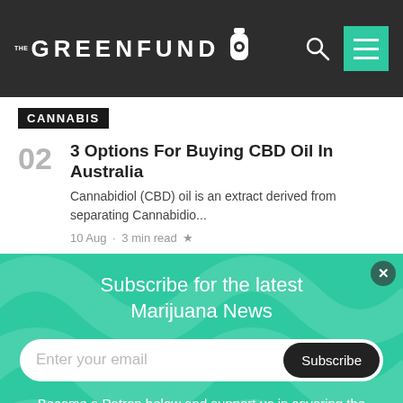THE GREENFUND
CANNABIS
02
3 Options For Buying CBD Oil In Australia
Cannabidiol (CBD) oil is an extract derived from separating Cannabidio...
10 Aug · 3 min read ★
Subscribe for the latest Marijuana News
Enter your email
Subscribe
Become a Patron below and support us in covering the latest marijuana news!
Become a patron